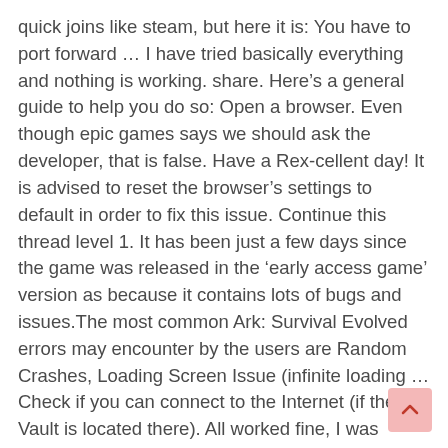quick joins like steam, but here it is: You have to port forward … I have tried basically everything and nothing is working. share. Here's a general guide to help you do so: Open a browser. Even though epic games says we should ask the developer, that is false. Have a Rex-cellent day! It is advised to reset the browser's settings to default in order to fix this issue. Continue this thread level 1. It has been just a few days since the game was released in the 'early access game' version as because it contains lots of bugs and issues.The most common Ark: Survival Evolved errors may encounter by the users are Random Crashes, Loading Screen Issue (infinite loading … Check if you can connect to the Internet (if the Vault is located there). All worked fine, I was running around the maps building, killing and sailing the seas. If you do not see your server updated, please restart the server to get the latest update." I just want to put this out there cuz I know the host timeout issue … So I installed Atlas server manager early in January. Dedicated Australian